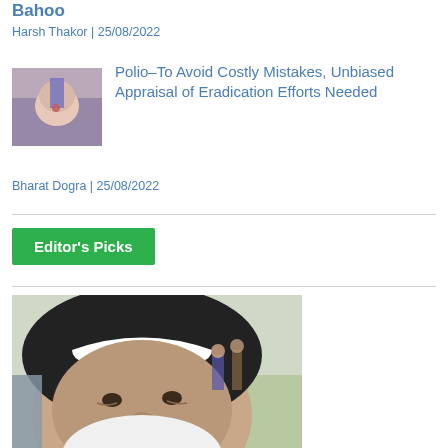Bahoo
Harsh Thakor | 25/08/2022
[Figure (photo): Close-up photo of a child receiving polio vaccine drops]
Polio–To Avoid Costly Mistakes, Unbiased Appraisal of Eradication Efforts Needed
Bharat Dogra | 25/08/2022
Editor's Picks
[Figure (photo): Photo of an elderly Sikh man wearing a black turban with a white stripe, with other people visible in the background on a grassy area]